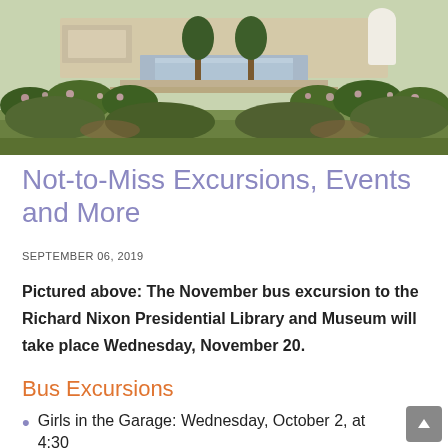[Figure (photo): Aerial/landscape view of the Richard Nixon Presidential Library and Museum gardens, showing a long reflecting pool flanked by rose bushes, trees, and manicured greenery, with a white archway structure in the background.]
Not-to-Miss Excursions, Events and More
SEPTEMBER 06, 2019
Pictured above: The November bus excursion to the Richard Nixon Presidential Library and Museum will take place Wednesday, November 20.
Bus Excursions
Girls in the Garage: Wednesday, October 2, at 4:30